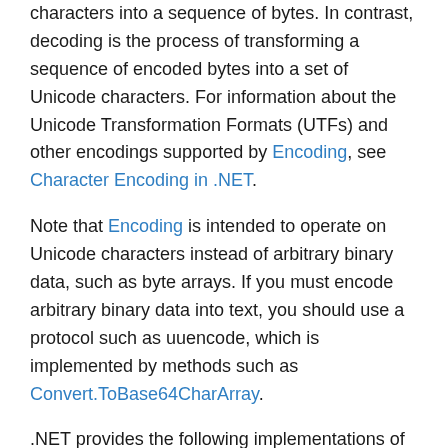characters into a sequence of bytes. In contrast, decoding is the process of transforming a sequence of encoded bytes into a set of Unicode characters. For information about the Unicode Transformation Formats (UTFs) and other encodings supported by Encoding, see Character Encoding in .NET.
Note that Encoding is intended to operate on Unicode characters instead of arbitrary binary data, such as byte arrays. If you must encode arbitrary binary data into text, you should use a protocol such as uuencode, which is implemented by methods such as Convert.ToBase64CharArray.
.NET provides the following implementations of the Encoding class to support current Unicode encodings and other encodings:
ASCIIEncoding encodes Unicode characters as single